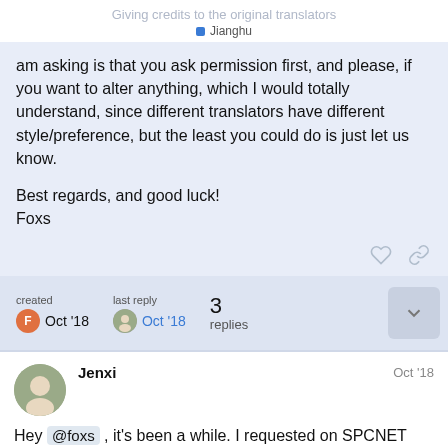Giving credits to the original translators
Jianghu
am asking is that you ask permission first, and please, if you want to alter anything, which I would totally understand, since different translators have different style/preference, but the least you could do is just let us know.

Best regards, and good luck!
Foxs
created Oct '18   last reply Oct '18   3 replies
Jenxi   Oct '18
Hey @foxs , it's been a while. I requested on SPCNET back in 2013 regarding the po... have to leave us in the dark about...